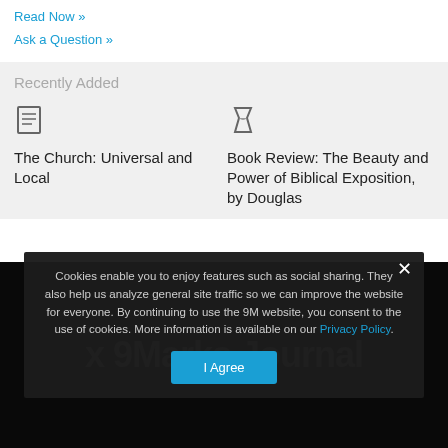Read Now »
Ask a Question »
Recently Added
The Church: Universal and Local
Book Review: The Beauty and Power of Biblical Exposition, by Douglas
Cookies enable you to enjoy features such as social sharing. They also help us analyze general site traffic so we can improve the website for everyone. By continuing to use the 9M website, you consent to the use of cookies. More information is available on our Privacy Policy.
I Agree